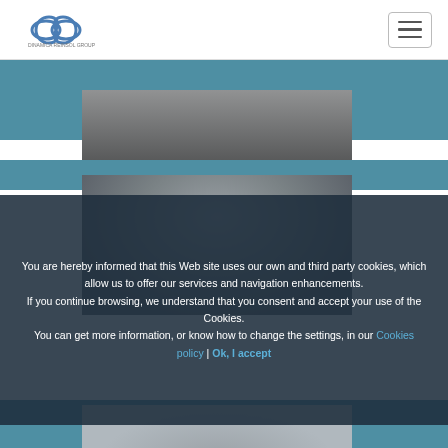[Figure (logo): Infinity loop logo for Dinamica Reinsol Group]
[Figure (photo): Hamburger menu button in top right corner]
[Figure (photo): Partial view of a person in formal suit at top of page]
[Figure (photo): Black and white portrait photo of a man with beard in a suit]
You are hereby informed that this Web site uses our own and third party cookies, which allow us to offer our services and navigation enhancements. If you continue browsing, we understand that you consent and accept your use of the Cookies. You can get more information, or know how to change the settings, in our Cookies policy | Ok, I accept
[Figure (photo): Partial view of another person's head at the bottom of the page]